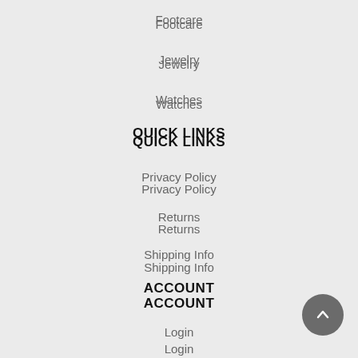Footcare
Jewelry
Watches
QUICK LINKS
Privacy Policy
Returns
Shipping Info
ACCOUNT
Login
Register
OTHER
Wishlist
All Products